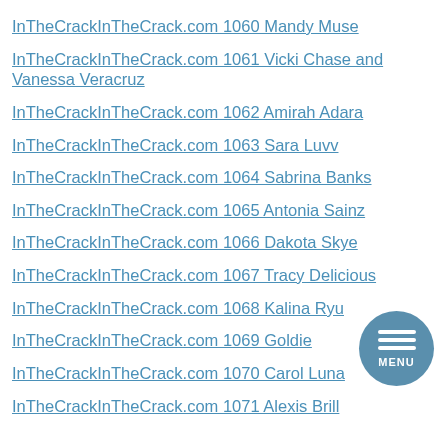InTheCrackInTheCrack.com 1060 Mandy Muse
InTheCrackInTheCrack.com 1061 Vicki Chase and Vanessa Veracruz
InTheCrackInTheCrack.com 1062 Amirah Adara
InTheCrackInTheCrack.com 1063 Sara Luvv
InTheCrackInTheCrack.com 1064 Sabrina Banks
InTheCrackInTheCrack.com 1065 Antonia Sainz
InTheCrackInTheCrack.com 1066 Dakota Skye
InTheCrackInTheCrack.com 1067 Tracy Delicious
InTheCrackInTheCrack.com 1068 Kalina Ryu
InTheCrackInTheCrack.com 1069 Goldie
InTheCrackInTheCrack.com 1070 Carol Luna
InTheCrackInTheCrack.com 1071 Alexis Brill